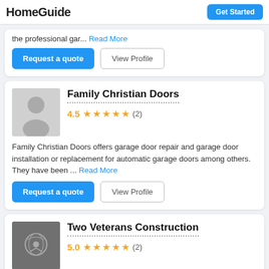HomeGuide
the professional gar... Read More
Request a quote | View Profile
Family Christian Doors
4.5 ★★★★★ (2)
Family Christian Doors offers garage door repair and garage door installation or replacement for automatic garage doors among others. They have been ... Read More
Request a quote | View Profile
Two Veterans Construction
5.0 ★★★★★ (2)
I take a lot of pride in my work so no jobs complete until my clients are satisfied with my